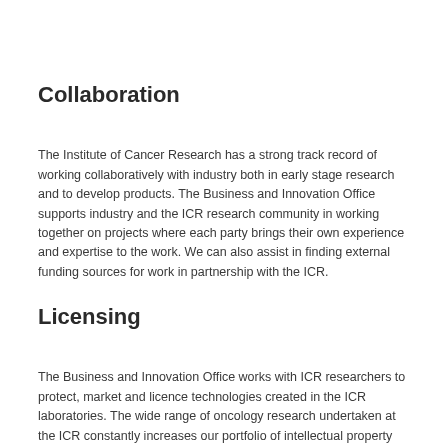Collaboration
The Institute of Cancer Research has a strong track record of working collaboratively with industry both in early stage research and to develop products. The Business and Innovation Office supports industry and the ICR research community in working together on projects where each party brings their own experience and expertise to the work. We can also assist in finding external funding sources for work in partnership with the ICR.
Licensing
The Business and Innovation Office works with ICR researchers to protect, market and licence technologies created in the ICR laboratories. The wide range of oncology research undertaken at the ICR constantly increases our portfolio of intellectual property and we welcome contact from companies interested in licensing any of our